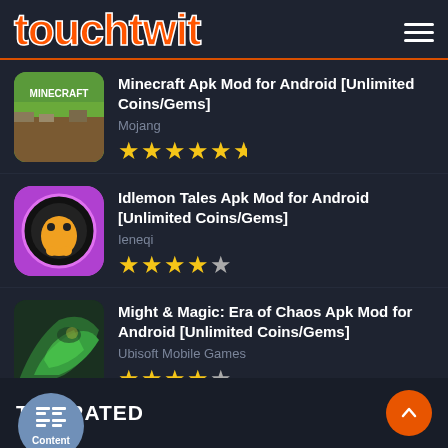touchtwit
Minecraft Apk Mod for Android [Unlimited Coins/Gems] — Mojang — ★★★★★½
Idlemon Tales Apk Mod for Android [Unlimited Coins/Gems] — Ieneqi — ★★★★½
Might & Magic: Era of Chaos Apk Mod for Android [Unlimited Coins/Gems] — Ubisoft Mobile Games — ★★★★½
TOP RATED